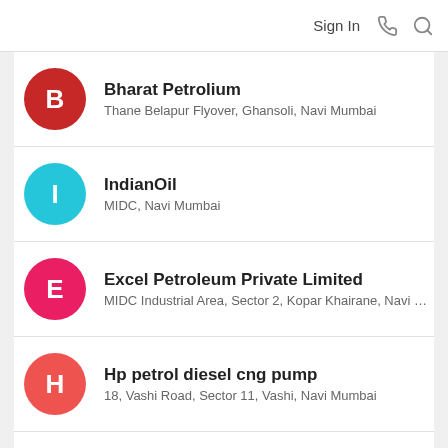Sign In
Bharat Petrolium
Thane Belapur Flyover, Ghansoli, Navi Mumbai
IndianOil
MIDC, Navi Mumbai
Excel Petroleum Private Limited
MIDC Industrial Area, Sector 2, Kopar Khairane, Navi Mu...
Hp petrol diesel cng pump
18, Vashi Road, Sector 11, Vashi, Navi Mumbai
HP PETROL PUMP - VASHI FUEL CENTRE
Plot NO 2/2 Sector 14, Vashi Road, Vashi
HP PETROL PUMP - APUS C CHIPLOLI / NYMI...